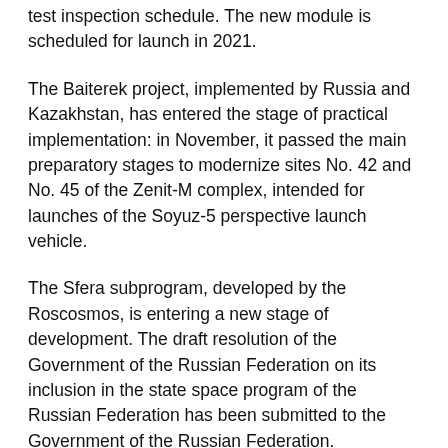test inspection schedule. The new module is scheduled for launch in 2021.
The Baiterek project, implemented by Russia and Kazakhstan, has entered the stage of practical implementation: in November, it passed the main preparatory stages to modernize sites No. 42 and No. 45 of the Zenit-M complex, intended for launches of the Soyuz-5 perspective launch vehicle.
The Sfera subprogram, developed by the Roscosmos, is entering a new stage of development. The draft resolution of the Government of the Russian Federation on its inclusion in the state space program of the Russian Federation has been submitted to the Government of the Russian Federation.
It implies creating new spacecraft with various functionalities. In case of timely funding the first launches can be carried out as early as 2024. As previously reported, the main goal of the subprogram is to ensure high quality space services in the Russian